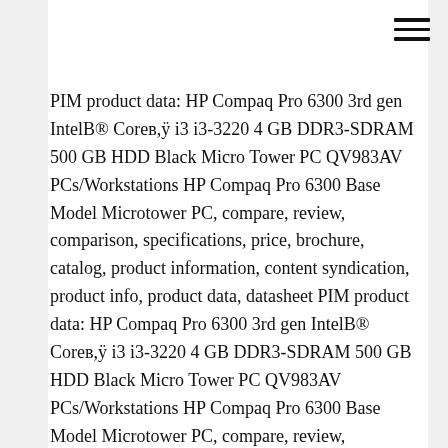[Figure (other): Hamburger menu icon (three horizontal lines) in the top-right corner]
PIM product data: HP Compaq Pro 6300 3rd gen IntelB® Coreв,ÿ i3 i3-3220 4 GB DDR3-SDRAM 500 GB HDD Black Micro Tower PC QV983AV PCs/Workstations HP Compaq Pro 6300 Base Model Microtower PC, compare, review, comparison, specifications, price, brochure, catalog, product information, content syndication, product info, product data, datasheet PIM product data: HP Compaq Pro 6300 3rd gen IntelB® Coreв,ÿ i3 i3-3220 4 GB DDR3-SDRAM 500 GB HDD Black Micro Tower PC QV983AV PCs/Workstations HP Compaq Pro 6300 Base Model Microtower PC, compare, review, comparison, specifications, price,